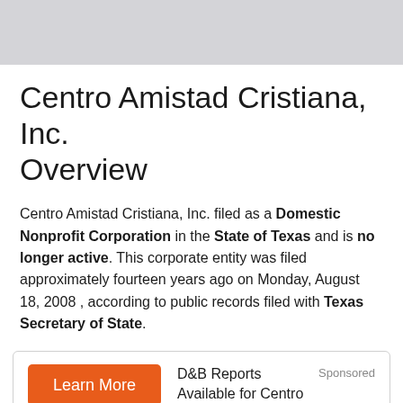Centro Amistad Cristiana, Inc. Overview
Centro Amistad Cristiana, Inc. filed as a Domestic Nonprofit Corporation in the State of Texas and is no longer active. This corporate entity was filed approximately fourteen years ago on Monday, August 18, 2008 , according to public records filed with Texas Secretary of State.
Learn More  D&B Reports Available for Centro Amistad Cristiana, Inc.  Sponsored
Network Visualizer